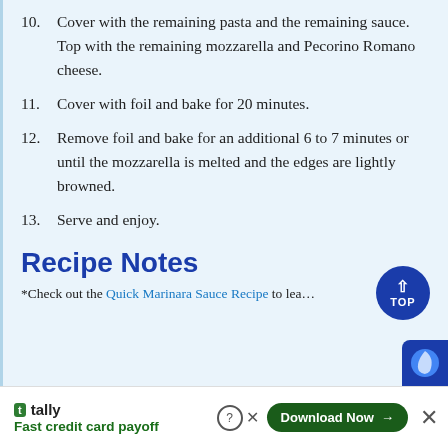10. Cover with the remaining pasta and the remaining sauce. Top with the remaining mozzarella and Pecorino Romano cheese.
11. Cover with foil and bake for 20 minutes.
12. Remove foil and bake for an additional 6 to 7 minutes or until the mozzarella is melted and the edges are lightly browned.
13. Serve and enjoy.
Recipe Notes
*Check out the Quick Marinara Sauce Recipe to lea…